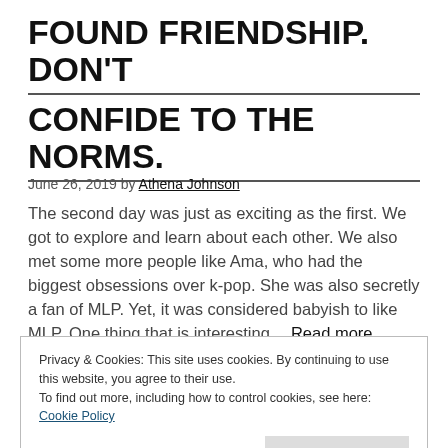FOUND FRIENDSHIP. DON'T CONFIDE TO THE NORMS.
June 26, 2019 by Athena Johnson
The second day was just as exciting as the first. We got to explore and learn about each other. We also met some more people like Ama, who had the biggest obsessions over k-pop. She was also secretly a fan of MLP. Yet, it was considered babyish to like MLP. One thing that is interesting… Read more
Privacy & Cookies: This site uses cookies. By continuing to use this website, you agree to their use.
To find out more, including how to control cookies, see here: Cookie Policy
Close and accept